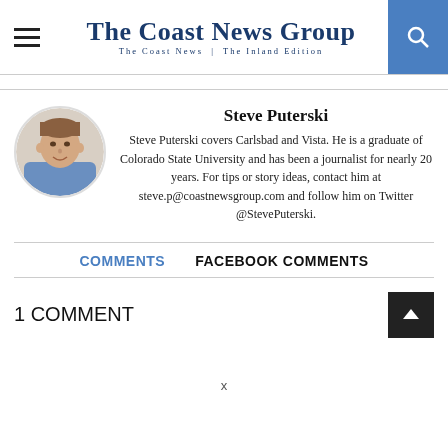The Coast News Group — The Coast News | The Inland Edition
Steve Puterski
Steve Puterski covers Carlsbad and Vista. He is a graduate of Colorado State University and has been a journalist for nearly 20 years. For tips or story ideas, contact him at steve.p@coastnewsgroup.com and follow him on Twitter @StevePuterski.
COMMENTS   FACEBOOK COMMENTS
1 COMMENT